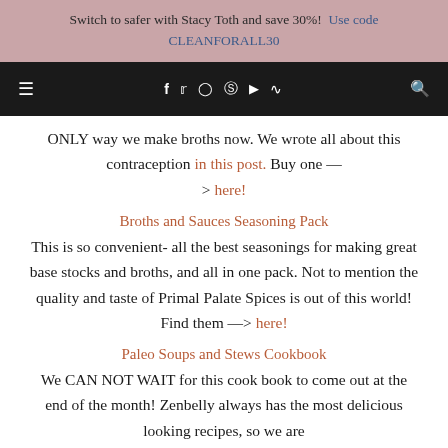Switch to safer with Stacy Toth and save 30%! Use code CLEANFORALL30
[Figure (other): Navigation bar with hamburger menu icon, social media icons (Facebook, Twitter, Instagram, Pinterest, YouTube, RSS), and search icon on black background]
ONLY way we make broths now. We wrote all about this contraception in this post. Buy one —> here!
Broths and Sauces Seasoning Pack
This is so convenient- all the best seasonings for making great base stocks and broths, and all in one pack. Not to mention the quality and taste of Primal Palate Spices is out of this world! Find them —> here!
Paleo Soups and Stews Cookbook
We CAN NOT WAIT for this cook book to come out at the end of the month! Zenbelly always has the most delicious looking recipes, so we are